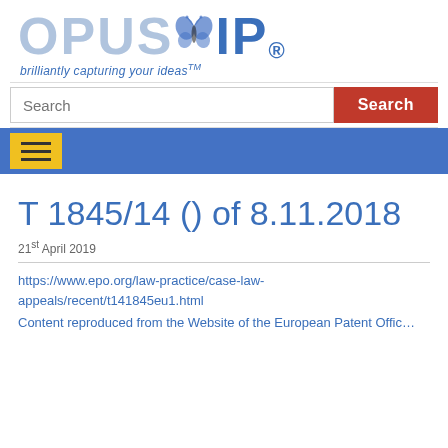[Figure (logo): OPUS IP logo with butterfly icon and tagline 'brilliantly capturing your ideas TM']
[Figure (screenshot): Search bar with text input field and red Search button]
[Figure (screenshot): Blue navigation bar with yellow hamburger menu button]
T 1845/14 () of 8.11.2018
21st April 2019
https://www.epo.org/law-practice/case-law-appeals/recent/t141845eu1.html
Content reproduced from the Website of the European Patent Office